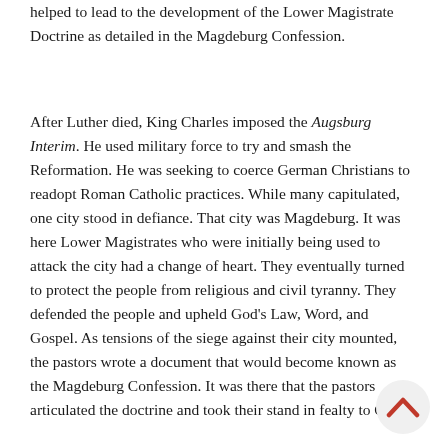helped to lead to the development of the Lower Magistrate Doctrine as detailed in the Magdeburg Confession.
After Luther died, King Charles imposed the Augsburg Interim. He used military force to try and smash the Reformation. He was seeking to coerce German Christians to readopt Roman Catholic practices. While many capitulated, one city stood in defiance. That city was Magdeburg. It was here Lower Magistrates who were initially being used to attack the city had a change of heart. They eventually turned to protect the people from religious and civil tyranny. They defended the people and upheld God's Law, Word, and Gospel. As tensions of the siege against their city mounted, the pastors wrote a document that would become known as the Magdeburg Confession. It was there that the pastors articulated the doctrine and took their stand in fealty to Christ.